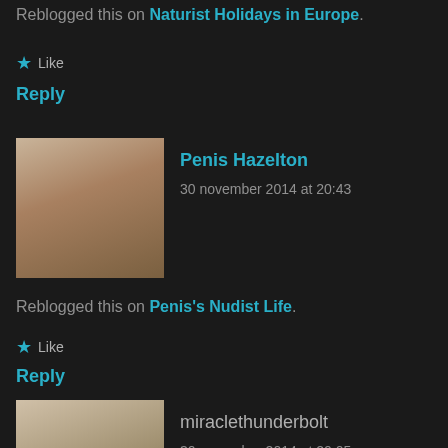Reblogged this on Naturist Holidays in Europe.
★ Like
Reply
Penis Hazelton
30 november 2014 at 20:43
Reblogged this on Penis's Nudist Life.
★ Like
Reply
miraclethunderbolt
30 november 2014 at 20:05